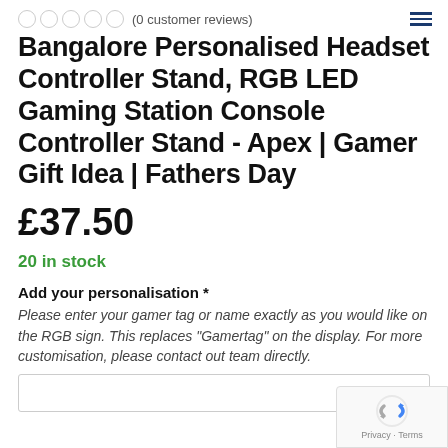(0 customer reviews)
Bangalore Personalised Headset Controller Stand, RGB LED Gaming Station Console Controller Stand - Apex | Gamer Gift Idea | Fathers Day
£37.50
20 in stock
Add your personalisation *
Please enter your gamer tag or name exactly as you would like on the RGB sign. This replaces "Gamertag" on the display. For more customisation, please contact out team directly.